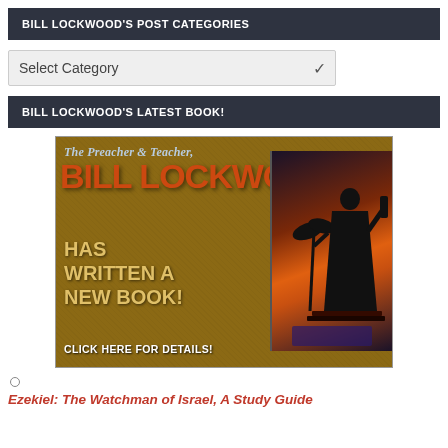BILL LOCKWOOD'S POST CATEGORIES
Select Category
BILL LOCKWOOD'S LATEST BOOK!
[Figure (photo): Promotional image for Bill Lockwood's book showing text: The Preacher & Teacher, BILL LOCKWOOD HAS WRITTEN A NEW BOOK! CLICK HERE FOR DETAILS! with a dark silhouette of a robed figure holding a scroll against a sunset background]
Ezekiel: The Watchman of Israel, A Study Guide